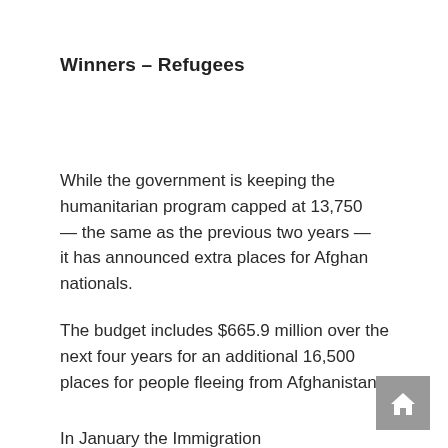Winners – Refugees
While the government is keeping the humanitarian program capped at 13,750 — the same as the previous two years — it has announced extra places for Afghan nationals.
The budget includes $665.9 million over the next four years for an additional 16,500 places for people fleeing from Afghanistan.
In January the Immigration